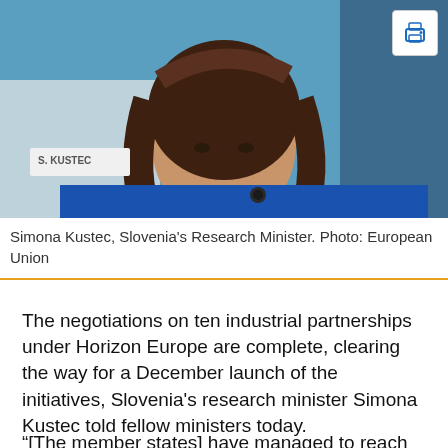[Figure (photo): Photo of Simona Kustec, Slovenia's Research Minister, a woman with long brown hair wearing a blue jacket, sitting at a table with a nameplate reading 'S. KUSTEC'. A printer icon button appears in the top right corner.]
Simona Kustec, Slovenia's Research Minister. Photo: European Union
The negotiations on ten industrial partnerships under Horizon Europe are complete, clearing the way for a December launch of the initiatives, Slovenia's research minister Simona Kustec told fellow ministers today.
“[The member states] have managed to reach an agreement very fast, which enabled our Slovenian presidency to conclude these negotiations at a very short deadline,” Kustec said.
The partnership legislation has been in the pipeline